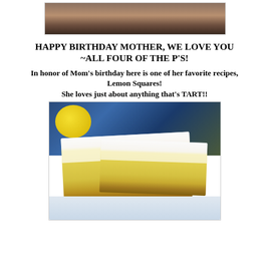[Figure (photo): Photo of two people sitting on a couch, partially cropped at top]
HAPPY BIRTHDAY MOTHER, WE LOVE YOU ~ALL FOUR OF THE P'S!
In honor of Mom's birthday here is one of her favorite recipes, Lemon Squares! She loves just about anything that's TART!!
[Figure (photo): Close-up photo of lemon squares dusted with powdered sugar on a plate, with a whole lemon and blue cloth in background]